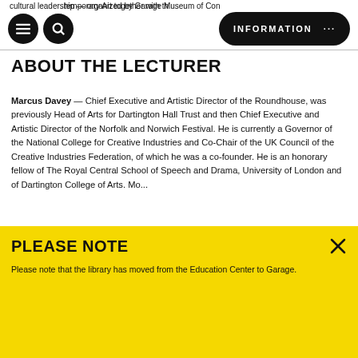cultural leadership — organized by Garage Museum of Contemporary Art together with th...
ABOUT THE LECTURER
Marcus Davey — Chief Executive and Artistic Director of the Roundhouse, was previously Head of Arts for Dartington Hall Trust and then Chief Executive and Artistic Director of the Norfolk and Norwich Festival. He is currently a Governor of the National College for Creative Industries and Co-Chair of the UK Council of the Creative Industries Federation, of which he was a co-founder. He is an honorary fellow of The Royal Central School of Speech and Drama, University of London and of Dartington College of Arts. More...
PLEASE NOTE
Please note that the library has moved from the Education Center to Garage.